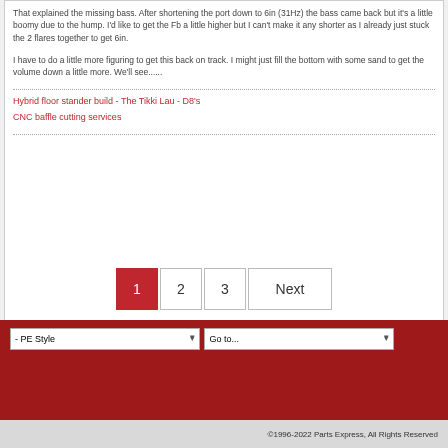That explained the missing bass. After shortening the port down to 6in (31Hz) the bass came back but it's a little boomy due to the hump. I'd like to get the Fb a little higher but I can't make it any shorter as I already just stuck the 2 flares together to get 6in.
I have to do a little more figuring to get this back on track. I might just fill the bottom with some sand to get the volume down a little more. We'll see......
Hybrid floor stander build - The Tikki Lau - D8's
CNC baffle cutting services
©1996-2022 Parts Express, All Rights Reserved